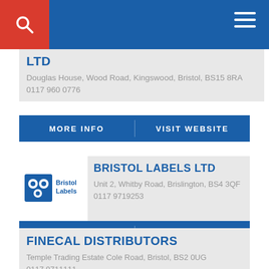Navigation bar with search and menu icons
LTD
Douglas House, Wood Road, Kingswood, Bristol, BS15 8RA
0117 960 0776
MORE INFO   VISIT WEBSITE
BRISTOL LABELS LTD
Unit 2, Whitby Road, Brislington, BS4 3QF
0117 9719253
MORE INFO   VISIT WEBSITE
FINECAL DISTRIBUTORS
Temple Trading Estate Cole Road, Bristol, BS2 0UG
0117 9711111
MORE INFO   VISIT WEBSITE